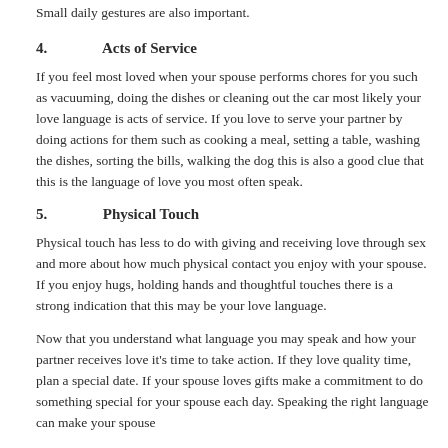Small daily gestures are also important.
4.     Acts of Service
If you feel most loved when your spouse performs chores for you such as vacuuming, doing the dishes or cleaning out the car most likely your love language is acts of service. If you love to serve your partner by doing actions for them such as cooking a meal, setting a table, washing the dishes, sorting the bills, walking the dog this is also a good clue that this is the language of love you most often speak.
5.     Physical Touch
Physical touch has less to do with giving and receiving love through sex and more about how much physical contact you enjoy with your spouse. If you enjoy hugs, holding hands and thoughtful touches there is a strong indication that this may be your love language.
Now that you understand what language you may speak and how your partner receives love it's time to take action. If they love quality time, plan a special date. If your spouse loves gifts make a commitment to do something special for your spouse each day. Speaking the right language can make your spouse